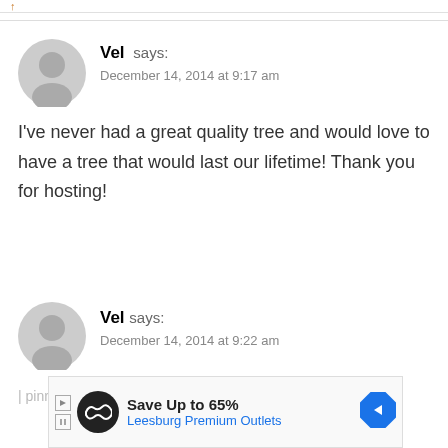↑
Vel says:
December 14, 2014 at 9:17 am
I've never had a great quality tree and would love to have a tree that would last our lifetime! Thank you for hosting!
Vel says:
December 14, 2014 at 9:22 am
[Figure (screenshot): Advertisement banner: Save Up to 65% Leesburg Premium Outlets with logo and arrow icon]